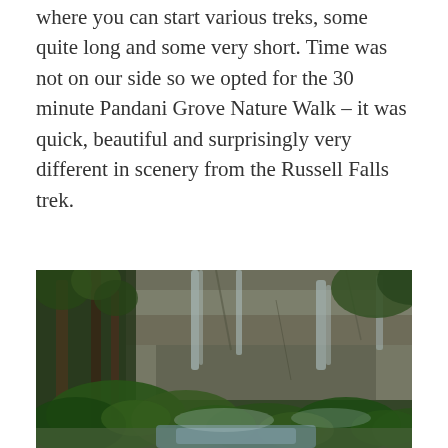where you can start various treks, some quite long and some very short. Time was not on our side so we opted for the 30 minute Pandani Grove Nature Walk – it was quick, beautiful and surprisingly very different in scenery from the Russell Falls trek.
[Figure (photo): A lush green forest scene with a waterfall cascading down a rocky cliff face, surrounded by ferns and tall trees. The water collects in a pool at the bottom. The scene is from the Pandani Grove Nature Walk area in Tasmania.]